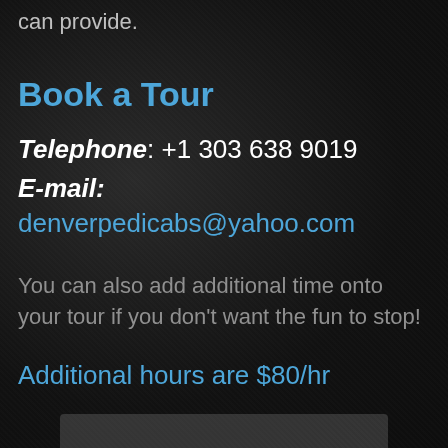can provide.
Book a Tour
Telephone: +1 303 638 9019
E-mail:  denverpedicabs@yahoo.com
You can also add additional time onto your tour if you don't want the fun to stop!
Additional hours are $80/hr